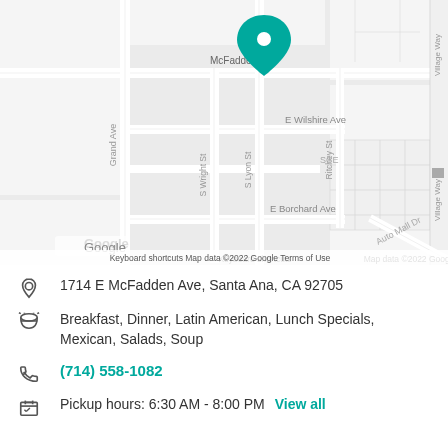[Figure (map): Google Maps view showing location pin on McFadden Ave near S Lyon St, Santa Ana, CA. Streets visible include Grand Ave, S Wright St, S Lyon St, E Wilshire Ave, Ritchey St, Village Way, E Borchard Ave, Auto Mall Dr, SCE. Google logo and map attribution visible.]
1714 E McFadden Ave, Santa Ana, CA 92705
Breakfast, Dinner, Latin American, Lunch Specials, Mexican, Salads, Soup
(714) 558-1082
Pickup hours: 6:30 AM - 8:00 PM  View all